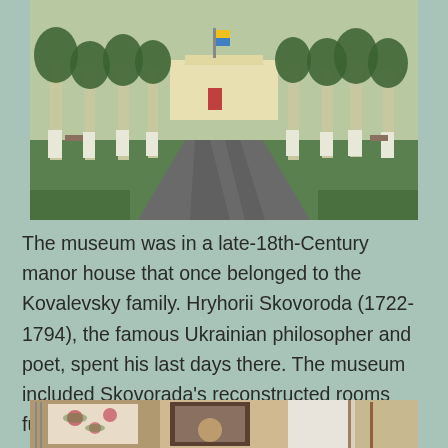[Figure (photo): Outdoor photograph of a tree-lined path leading to a yellow manor house. Trees have white-painted trunks, green grass on both sides, stone or paved path in the center.]
The museum was in a late-18th-Century manor house that once belonged to the Kovalevsky family. Hryhorii Skovoroda (1722- 1794), the famous Ukrainian philosopher and poet, spent his last days there. The museum included Skovorada's reconstructed rooms furnished with pieces of period furniture.
[Figure (photo): Partial bottom photograph showing museum interior items including what appears to be textiles with floral patterns, framed paintings, and decorative objects.]